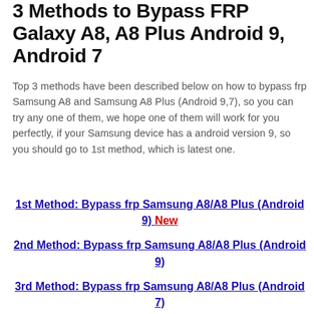3 Methods to Bypass FRP Galaxy A8, A8 Plus Android 9, Android 7
Top 3 methods have been described below on how to bypass frp Samsung A8 and Samsung A8 Plus (Android 9,7), so you can try any one of them, we hope one of them will work for you perfectly, if your Samsung device has a android version 9, so you should go to 1st method, which is latest one.
1st Method: Bypass frp Samsung A8/A8 Plus (Android 9) New
2nd Method: Bypass frp Samsung A8/A8 Plus (Android 9)
3rd Method: Bypass frp Samsung A8/A8 Plus (Android 7)